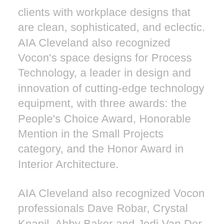clients with workplace designs that are clean, sophisticated, and eclectic. AIA Cleveland also recognized Vocon's space designs for Process Technology, a leader in design and innovation of cutting-edge technology equipment, with three awards: the People's Choice Award, Honorable Mention in the Small Projects category, and the Honor Award in Interior Architecture.
AIA Cleveland also recognized Vocon professionals Dave Robar, Crystal Knapil, Abby Baker and Jodi Van Der Wiel. Robar received an award in the Architectural Photography category for his artistic photograph of the Greyhound Bus Station, titled “The Hound Never Sleeps.” Crystal Knapik was recognized